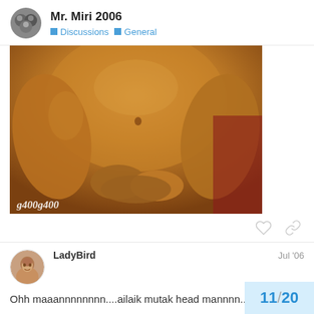Mr. Miri 2006 — Discussions > General
[Figure (photo): Close-up photo of a muscular person's torso and hands clasped together, with golden/bronze skin tone. Watermark text 'g400g400' in bottom left corner.]
LadyBird — Jul '06
Ohh maaannnnnnnn....ailaik mutak head mannnn... 😀
11 / 20